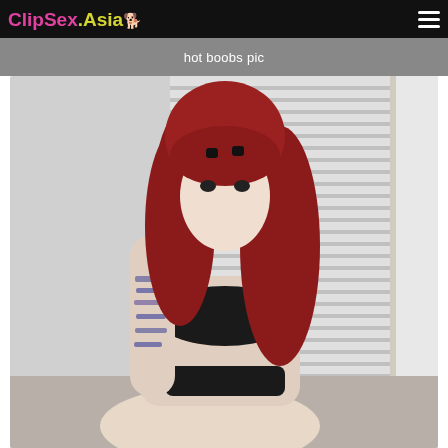ClipSex.Asia
hot boobs pic
[Figure (photo): A woman with long red hair and tattoos on her arm, wearing dark lingerie, posing in front of window blinds.]